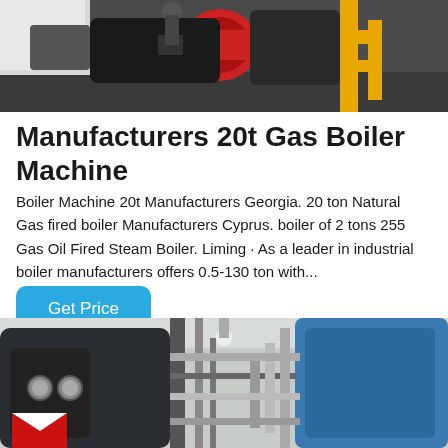[Figure (photo): Industrial gas boiler machine with red burner component and yellow gas pipes in a factory setting]
Manufacturers 20t Gas Boiler Machine
Boiler Machine 20t Manufacturers Georgia. 20 ton Natural Gas fired boiler Manufacturers Cyprus. boiler of 2 tons 255 Gas Oil Fired Steam Boiler. Liming · As a leader in industrial boiler manufacturers offers 0.5-130 ton with...
Get Price
[Figure (photo): Industrial boiler room interior showing large cylindrical steam boilers with pipes and equipment, with a red and white logo visible on the nearest boiler]